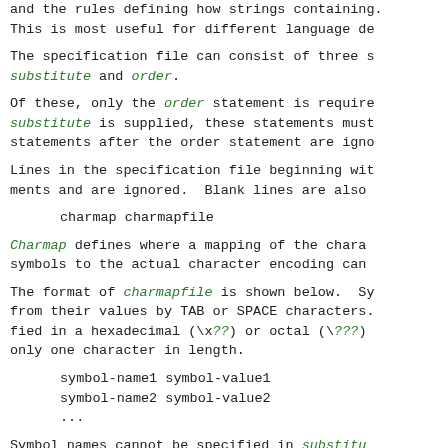and the rules defining how strings containing. This is most useful for different language de
The specification file can consist of three s: substitute and order.
Of these, only the order statement is required. substitute is supplied, these statements must. statements after the order statement are igno
Lines in the specification file beginning wit ments and are ignored.  Blank lines are also
charmap charmapfile
Charmap defines where a mapping of the chara symbols to the actual character encoding can
The format of charmapfile is shown below. Sy from their values by TAB or SPACE characters. fied in a hexadecimal (\x??) or octal (\???) only one character in length.
symbol-name1 symbol-value1
symbol-name2 symbol-value2
...
Symbol names cannot be specified in substitu